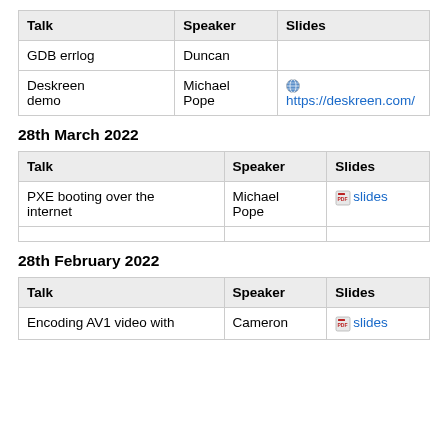| Talk | Speaker | Slides |
| --- | --- | --- |
| GDB errlog | Duncan |  |
| Deskreen demo | Michael Pope | 🌐 https://deskreen.com/ |
28th March 2022
| Talk | Speaker | Slides |
| --- | --- | --- |
| PXE booting over the internet | Michael Pope | slides |
|  |  |  |
28th February 2022
| Talk | Speaker | Slides |
| --- | --- | --- |
| Encoding AV1 video with | Cameron | slides |